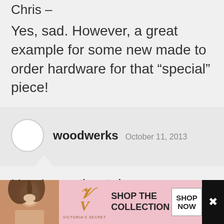Chris –
Yes, sad. However, a great example for some new made to order hardware for that “special” piece!
woodwerks  October 11, 2013
Here’s another take on campaign table from “Pegs and Tails” Jack Plane http://pegsandtails.wordpress.com/2010/09/21/making-a-campaign-table-%E2%80%93-part-
[Figure (photo): Victoria's Secret advertisement banner with a woman's photo, VS logo, 'SHOP THE COLLECTION' text, and 'SHOP NOW' button]